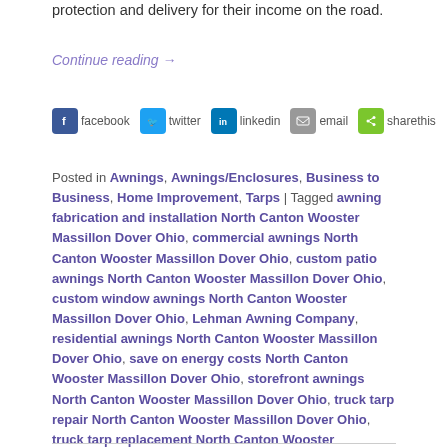protection and delivery for their income on the road.
Continue reading →
[Figure (infographic): Social share buttons: facebook, twitter, linkedin, email, sharethis]
Posted in Awnings, Awnings/Enclosures, Business to Business, Home Improvement, Tarps | Tagged awning fabrication and installation North Canton Wooster Massillon Dover Ohio, commercial awnings North Canton Wooster Massillon Dover Ohio, custom patio awnings North Canton Wooster Massillon Dover Ohio, custom window awnings North Canton Wooster Massillon Dover Ohio, Lehman Awning Company, residential awnings North Canton Wooster Massillon Dover Ohio, save on energy costs North Canton Wooster Massillon Dover Ohio, storefront awnings North Canton Wooster Massillon Dover Ohio, truck tarp repair North Canton Wooster Massillon Dover Ohio, truck tarp replacement North Canton Wooster Massillon Dover Ohio